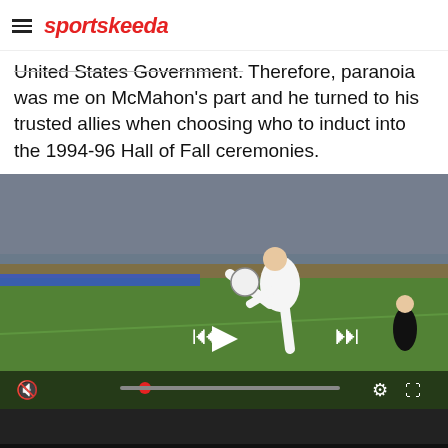sportskeeda
United States Government. Therefore, paranoia was me on McMahon’s part and he turned to his trusted allies when choosing who to induct into the 1994-96 Hall of Fall ceremonies.
[Figure (photo): Video player showing a soccer player in white kit kicking a ball on a stadium pitch in front of a large crowd. Video controls visible at bottom including mute, progress bar, settings and fullscreen icons. Three playback buttons (skip back, play, skip forward) overlaid on video.]
[Figure (other): Advertisement banner for 'Forbidden Desire' with 18+ rating, showing silhouette figures, pink/purple text, and a 'PLAY NOW' orange button.]